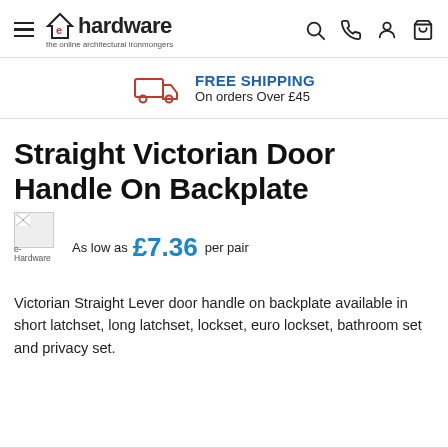e-hardware the online architectural ironmongers
FREE SHIPPING On orders Over £45
Straight Victorian Door Handle On Backplate
As low as £7.36 per pair
Victorian Straight Lever door handle on backplate available in short latchset, long latchset, lockset, euro lockset, bathroom set and privacy set.